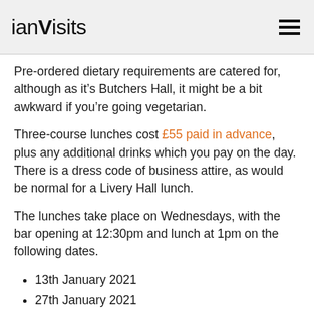ianVisits
Pre-ordered dietary requirements are catered for, although as it’s Butchers Hall, it might be a bit awkward if you’re going vegetarian.
Three-course lunches cost £55 paid in advance, plus any additional drinks which you pay on the day. There is a dress code of business attire, as would be normal for a Livery Hall lunch.
The lunches take place on Wednesdays, with the bar opening at 12:30pm and lunch at 1pm on the following dates.
13th January 2021
27th January 2021
10th February 2021
10th March 2021